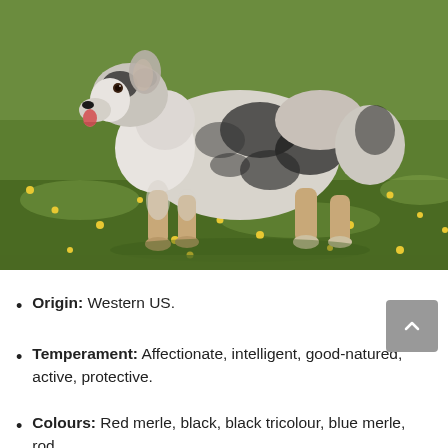[Figure (photo): Australian Shepherd dog standing in a grassy field with yellow wildflowers. The dog has a blue merle coat (black, white, and grey patches) with tan markings. It is facing left with its tongue out. The background is a lush green meadow.]
Origin: Western US.
Temperament: Affectionate, intelligent, good-natured, active, protective.
Colours: Red merle, black, black tricolour, blue merle, red.